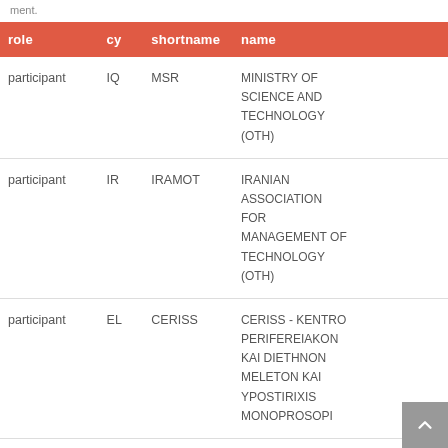ment.
| role | cy | shortname | name |
| --- | --- | --- | --- |
| participant | IQ | MSR | MINISTRY OF SCIENCE AND TECHNOLOGY (OTH) |
| participant | IR | IRAMOT | IRANIAN ASSOCIATION FOR MANAGEMENT OF TECHNOLOGY (OTH) |
| participant | EL | CERISS | CERISS - KENTRO PERIFEREIAKON KAI DIETHNON MELETON KAI YPOSTIRIXIS MONOPROSOPI |